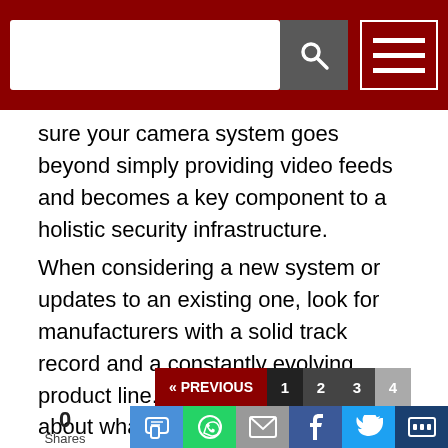[Navigation bar with search box and menu]
sure your camera system goes beyond simply providing video feeds and becomes a key component to a holistic security infrastructure.
When considering a new system or updates to an existing one, look for manufacturers with a solid track record and a constantly evolving product line. Most importantly, think about what else your security system can do for your business with regards to analytics, not just for security, but also for business intelligence. You might just find it pays for itself.
« PREVIOUS  1  2  3  4  |  0 Shares  [social share buttons: SMS, WhatsApp, Email, Facebook, Twitter, More]